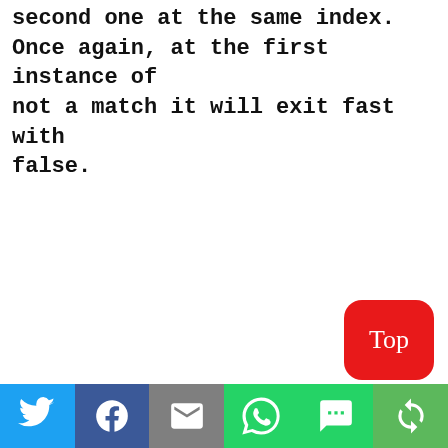second one at the same index. Once again, at the first instance of not a match it will exit fast with false.
[Figure (infographic): Red rounded rectangle button labeled 'Top' in white text, positioned bottom-right of the page above the share bar.]
[Figure (infographic): Social share bar with six colored buttons: Twitter (blue bird icon), Facebook (blue f icon), Email (grey envelope icon), WhatsApp (green phone icon), SMS (green SMS bubble icon), and Share (green circular arrows icon).]